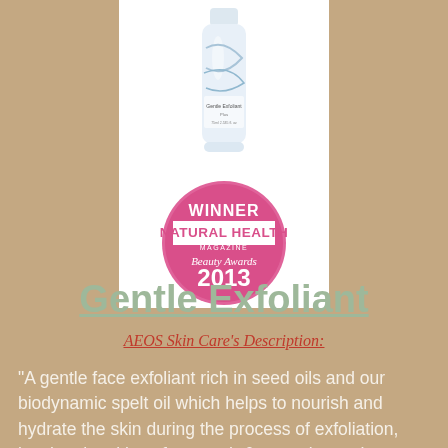[Figure (photo): Product photo of Gentle Exfoliant tube with blue/white design on a white background, with a Winner Natural Health Magazine Beauty Awards 2013 pink circular badge below]
Gentle Exfoliant
AEOS Skin Care's Description:
“A gentle face exfoliant rich in seed oils and our biodynamic spelt oil which helps to nourish and hydrate the skin during the process of exfoliation, leaving the skin soft, smooth & receptive to the